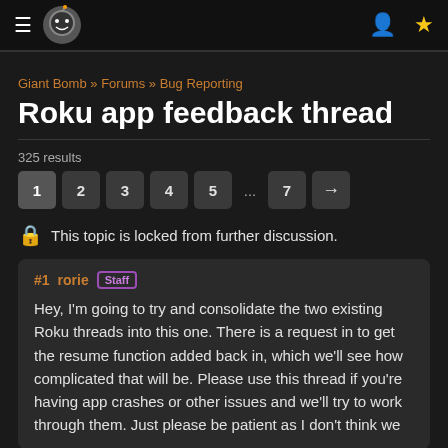Giant Bomb site header with logo, hamburger menu, user icon, and star icon
Giant Bomb » Forums » Bug Reporting
Roku app feedback thread
325 results
Pagination: 1 2 3 4 5 ... 7 →
🔒 This topic is locked from further discussion.
#1 rorie [Staff]
Hey, I'm going to try and consolidate the two existing Roku threads into this one. There is a request in to get the resume function added back in, which we'll see how complicated that will be. Please use this thread if you're having app crashes or other issues and we'll try to work through them. Just please be patient as I don't think we